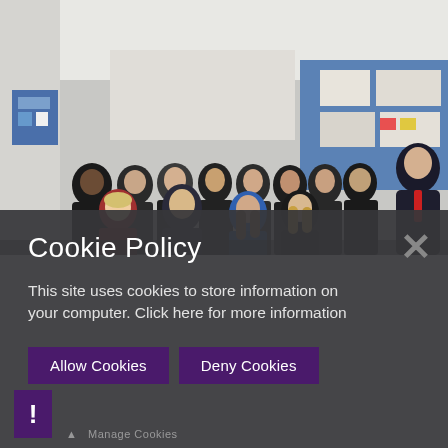[Figure (photo): Group photo of students and a teacher/official in a classroom setting. A tall man in a dark suit with a red tie stands on the right. Multiple teenage students of mixed gender and ethnicity pose together in what appears to be a school room with bulletin boards visible in the background.]
Cookie Policy
This site uses cookies to store information on your computer. Click here for more information
Allow Cookies
Deny Cookies